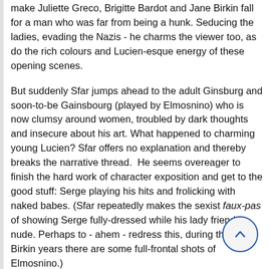make Juliette Greco, Brigitte Bardot and Jane Birkin fall for a man who was far from being a hunk. Seducing the ladies, evading the Nazis - he charms the viewer too, as do the rich colours and Lucien-esque energy of these opening scenes.
But suddenly Sfar jumps ahead to the adult Ginsburg and soon-to-be Gainsbourg (played by Elmosnino) who is now clumsy around women, troubled by dark thoughts and insecure about his art. What happened to charming young Lucien? Sfar offers no explanation and thereby breaks the narrative thread.  He seems overeager to finish the hard work of character exposition and get to the good stuff: Serge playing his hits and frolicking with naked babes. (Sfar repeatedly makes the sexist faux-pas of showing Serge fully-dressed while his lady friend is nude. Perhaps to - ahem - redress this, during the later Birkin years there are some full-frontal shots of Elmosnino.)
From here on in, the film is reduced to variety-show impersonation that will please French audiences but bore the rest of the world. (Even Sfar is at it - he makes a cameo as balladeer Georges Brassens.) Anna Mougalis, as a smouldering Juliette Greco, has an appealing few minutes but is essentially a plot device to push Gainsbourg into leaving his wife and children for the pop star life. Former model Laetitia Casta struts on as Brigitte Bardot as if simply